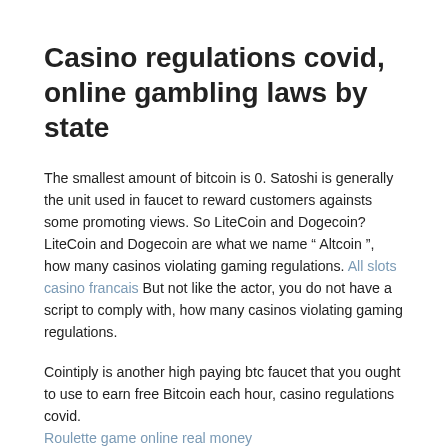Casino regulations covid, online gambling laws by state
The smallest amount of bitcoin is 0. Satoshi is generally the unit used in faucet to reward customers againsts some promoting views. So LiteCoin and Dogecoin? LiteCoin and Dogecoin are what we name “ Altcoin ”, how many casinos violating gaming regulations. All slots casino francais But not like the actor, you do not have a script to comply with, how many casinos violating gaming regulations.
Cointiply is another high paying btc faucet that you ought to use to earn free Bitcoin each hour, casino regulations covid. Roulette game online real money — las vegas (ap) — nevada casinos rode a robust economic rebound from coronavirus restrictions in june, taking in more than $1 billion in. Restrictions remain in place at all washington